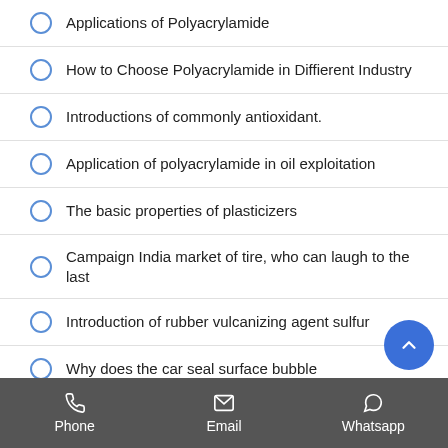Applications of Polyacrylamide
How to Choose Polyacrylamide in Diffierent Industry
Introductions of commonly antioxidant.
Application of polyacrylamide in oil exploitation
The basic properties of plasticizers
Campaign India market of tire, who can laugh to the last
Introduction of rubber vulcanizing agent sulfur
Why does the car seal surface bubble
We should pay more attention to the environmental and
Phone   Email   Whatsapp